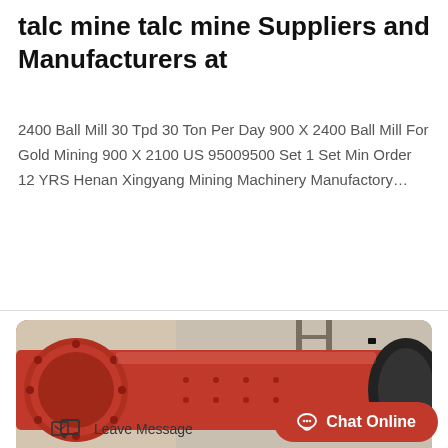talc mine talc mine Suppliers and Manufacturers at
2400 Ball Mill 30 Tpd 30 Ton Per Day 900 X 2400 Ball Mill For Gold Mining 900 X 2100 US 95009500 Set 1 Set Min Order 12 YRS Henan Xingyang Mining Machinery Manufactory…
Read More
[Figure (photo): Large red industrial ball mill machine in a factory setting]
Leave Message
Chat Online